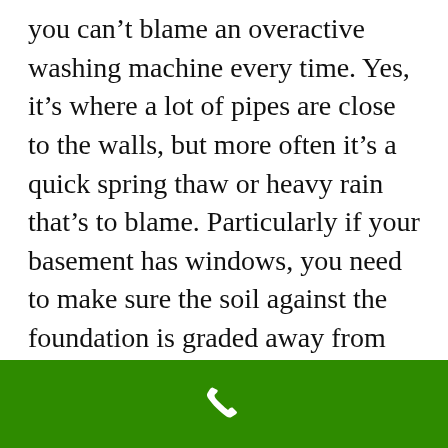you can't blame an overactive washing machine every time. Yes, it's where a lot of pipes are close to the walls, but more often it's a quick spring thaw or heavy rain that's to blame. Particularly if your basement has windows, you need to make sure the soil against the foundation is graded away from the home. A reputable landscaper can help with this.
3. Clear away snow quickly
If you live in a snowy region, as tedious as it may be, you need to remove snow
[Figure (other): Green footer bar with white phone icon]